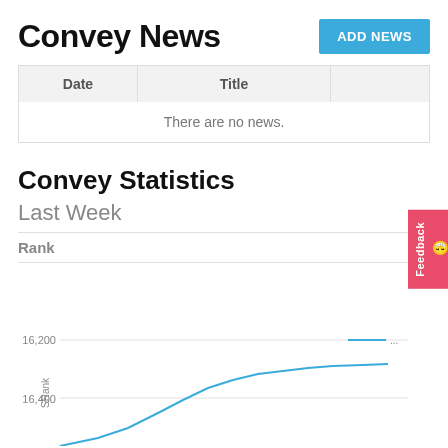Convey News
| Date | Title |  |
| --- | --- | --- |
|  | There are no news. |  |
Convey Statistics
Last Week
Rank
[Figure (line-chart): Line chart showing SRank over Last Week. Y-axis shows values around 16,200 to 16,400+. The line trends upward from bottom-left toward approximately 16,300, with a reference line at 16,200.]